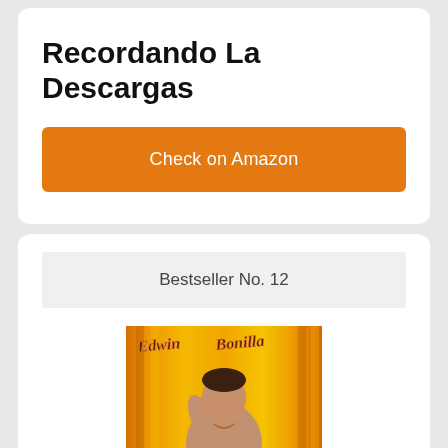Recordando La Descargas
Check on Amazon
Bestseller No. 12
[Figure (photo): Album cover for Edwin Bonilla – a man sitting with hand near face against an orange/yellow curtain background, with 'Edwin Bonilla' text on the cover]